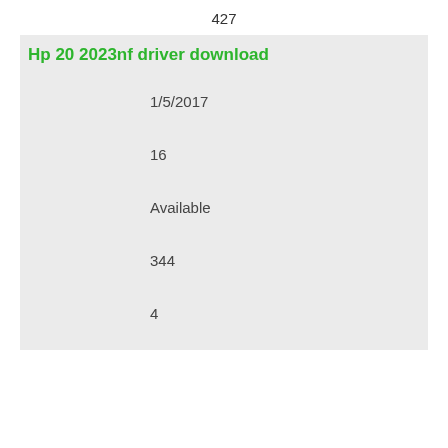427
Hp 20 2023nf driver download
1/5/2017
16
Available
344
4